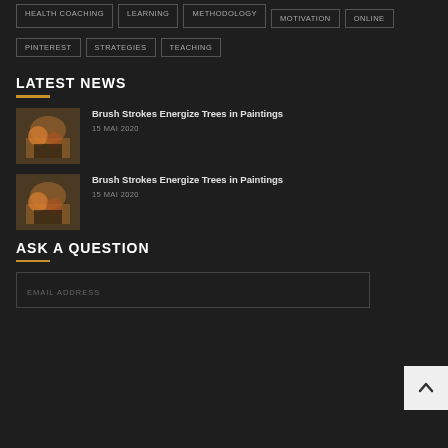HEALTH COACHING
LEARNING
METHODOLOGY
MOTIVATION
ONLINE
PINTEREST
STRATEGIES
TEACHING
LATEST NEWS
Brush Strokes Energize Trees in Paintings
15 MAI 2020
Brush Strokes Energize Trees in Paintings
15 MAI 2020
ASK A QUESTION
EMAIL ADDRESS